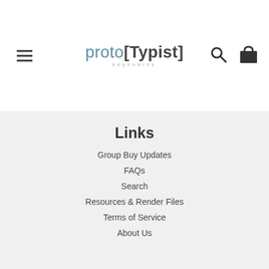proto[Typist] keyboards — navigation header with hamburger menu, search, and cart icons
Links
Group Buy Updates
FAQs
Search
Resources & Render Files
Terms of Service
About Us